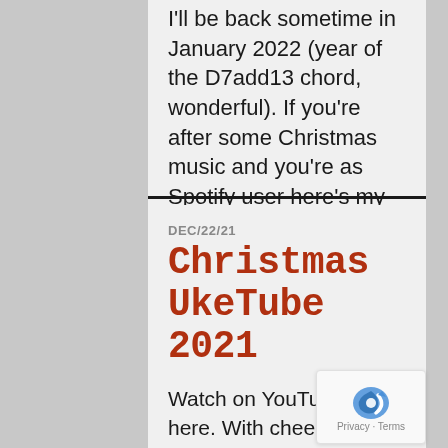I'll be back sometime in January 2022 (year of the D7add13 chord, wonderful). If you're after some Christmas music and you're as Spotify user here's my Christmas Ukulele […]
DEC/22/21
Christmas UkeTube 2021
Watch on YouTube It's here. With cheer. It's the same every year. It's the Christmas UkeTube. Tracklist The O'Pears – Bleak Midwinter / River The Mad Tea Party – Oh Shit, It's Christmastime! Eliel